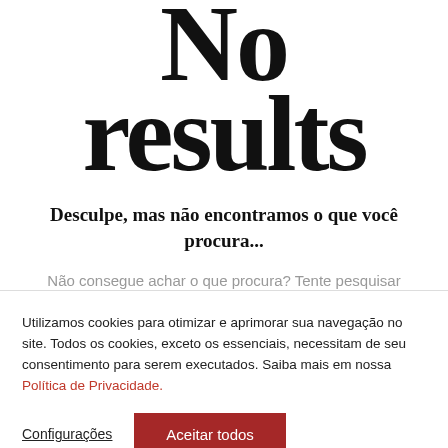No results
Desculpe, mas não encontramos o que você procura...
Não consegue achar o que procura? Tente pesquisar novamente ou entre em contato conosco.
Utilizamos cookies para otimizar e aprimorar sua navegação no site. Todos os cookies, exceto os essenciais, necessitam de seu consentimento para serem executados. Saiba mais em nossa Política de Privacidade.
Configurações
Aceitar todos